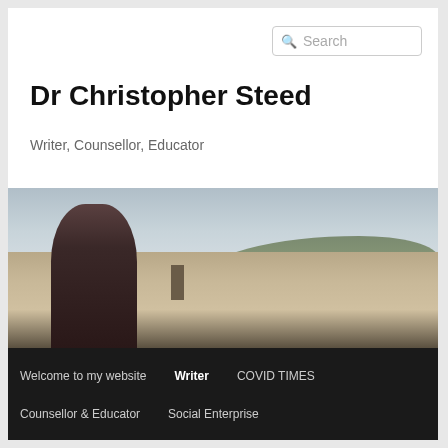Dr Christopher Steed
Writer, Counsellor, Educator
[Figure (photo): Man standing in front of a panoramic cityscape view, likely Florence, Italy, with hills in the background and overcast sky]
Welcome to my website
Writer
COVID TIMES
Counsellor & Educator
Social Enterprise
Leadership and Consultancy
Anglican Minister
Contact Chris